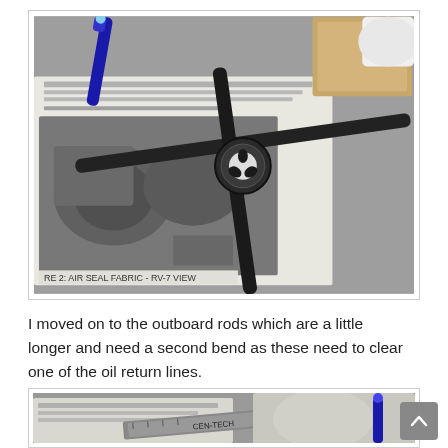[Figure (photo): A black metal rod bending tool (pipe bender / bar bender) with a circular head featuring a tri-slot wheel, placed on top of an aviation/aircraft maintenance manual page open to a section about air seal fabric RV-7 view. A blue marker pen is also visible. Background is carpet. In the upper right corner is a brown cardboard box or pad.]
I moved on to the outboard rods which are a little longer and need a second bend as these need to clear one of the oil return lines.
[Figure (photo): Partial view of a workbench or floor with a CEN-TECH measuring tool/ruler visible, along with a blue marker, papers/manual pages, and fabric or cloth items.]